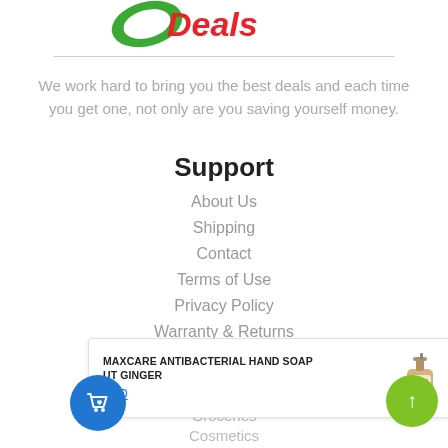[Figure (logo): Green and red 'Deals' logo with green swoosh/leaf element]
We work hard to bring you the best deals and each time you get one, not only are you saving yourself money.
Support
About Us
Shipping
Contact
Terms of Use
Privacy Policy
Warranty & Returns
MAXCARE ANTIBACTERIAL HAND SOAP
UT GINGER
NZD
Groceries
Cosmetics